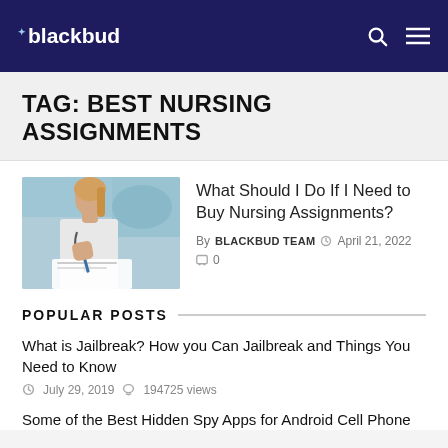blackbud
TAG: BEST NURSING ASSIGNMENTS
[Figure (photo): A female nurse or medical professional with blonde hair in a ponytail, wearing a white coat and stethoscope, writing at a desk in a clinical setting.]
What Should I Do If I Need to Buy Nursing Assignments?
By BLACKBUD TEAM  April 21, 2022  0
POPULAR POSTS
What is Jailbreak? How you Can Jailbreak and Things You Need to Know
July 29, 2019  194725 views
Some of the Best Hidden Spy Apps for Android Cell Phone